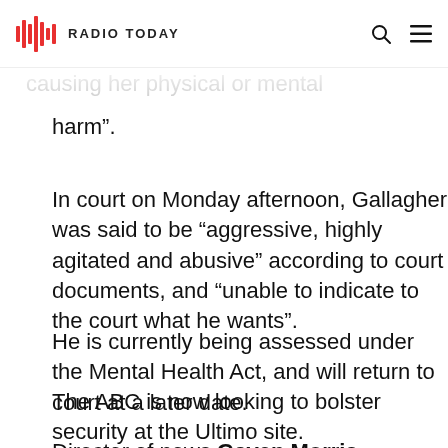Radio Today
with the intention of causing her physical or mental harm”.
In court on Monday afternoon, Gallagher was said to be “aggressive, highly agitated and abusive” according to court documents, and “unable to indicate to the court what he wants”.
He is currently being assessed under the Mental Health Act, and will return to court at a later date.
The ABC is now looking to bolster security at the Ultimo site.
Director of news Gaven Morris revealed in an email to